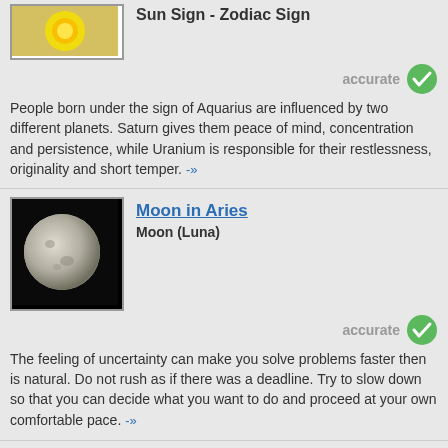Sun Sign - Zodiac Sign
accurate
People born under the sign of Aquarius are influenced by two different planets. Saturn gives them peace of mind, concentration and persistence, while Uranium is responsible for their restlessness, originality and short temper. -»
Moon in Aries
Moon (Luna)
accurate
The feeling of uncertainty can make you solve problems faster then is natural. Do not rush as if there was a deadline. Try to slow down so that you can decide what you want to do and proceed at your own comfortable pace. -»
Ascendant in Scorpio
Ascendant (Rising Sign)
accurate
People with Scorpio on the Ascendant need to fight against dark and destructive power in their life. For